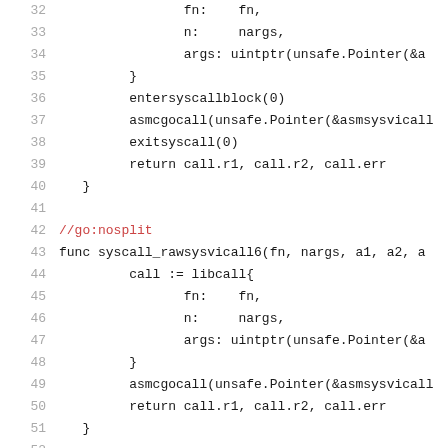Code listing lines 32-52: Go syscall implementation showing syscall_rawsysvicall6 function with libcall struct, entersyscallblock, asmcgocall, exitsyscall, and return statements.